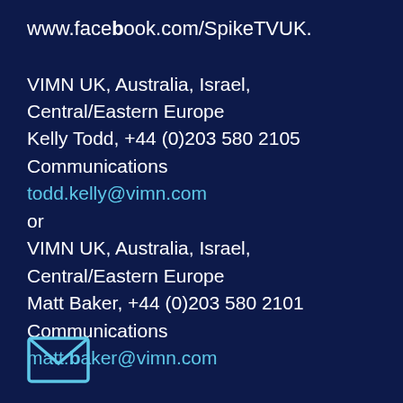www.facebook.com/SpikeTVUK.
VIMN UK, Australia, Israel, Central/Eastern Europe
Kelly Todd, +44 (0)203 580 2105 Communications
todd.kelly@vimn.com
or
VIMN UK, Australia, Israel, Central/Eastern Europe
Matt Baker, +44 (0)203 580 2101 Communications
matt.baker@vimn.com
[Figure (illustration): Envelope icon outline in cyan/blue at the bottom of the page]